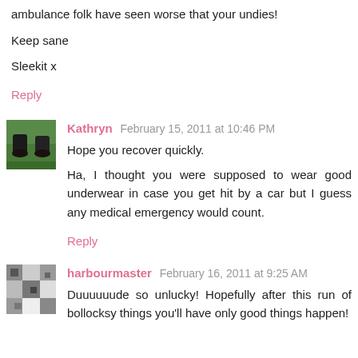ambulance folk have seen worse that your undies!
Keep sane
Sleekit x
Reply
Kathryn  February 15, 2011 at 10:46 PM
Hope you recover quickly.

Ha, I thought you were supposed to wear good underwear in case you get hit by a car but I guess any medical emergency would count.
Reply
harbourmaster  February 16, 2011 at 9:25 AM
Duuuuuude so unlucky! Hopefully after this run of bollocksy things you'll have only good things happen!